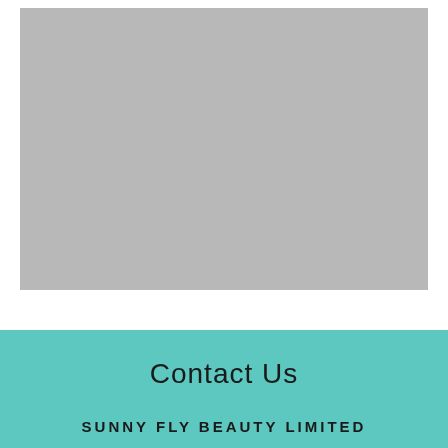[Figure (photo): Gray placeholder image area for a photo]
[Figure (illustration): Decorative golden ornamental border/lace pattern strip running horizontally across the page]
Contact Us
SUNNY FLY BEAUTY LIMITED